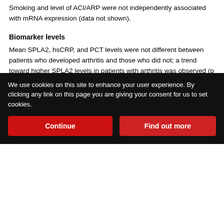Smoking and level of ACI/ARP were not independently associated with mRNA expression (data not shown).
Biomarker levels
Mean SPLA2, hsCRP, and PCT levels were not different between patients who developed arthritis and those who did not; a trend toward higher SPLA2 levels in patients with arthritis was observed (p = 0.07; Table 2). SPLA2 levels of patients with arthralgia did not differ from SPLA2 levels of healthy controls [geometric mean (GM) 4.56 (95% CI 3.69–5.64) and GM 4.65 (95% CI 3.84–5.64), respectively; p = 0.93], in contrast to the levels of patients with RA [GM 10.99 (95% CI 6.93–17.42)], which were significantly higher than levels of both healthy controls and patients with arthralgia (p <
We use cookies on this site to enhance your user experience. By clicking any link on this page you are giving your consent for us to set cookies.